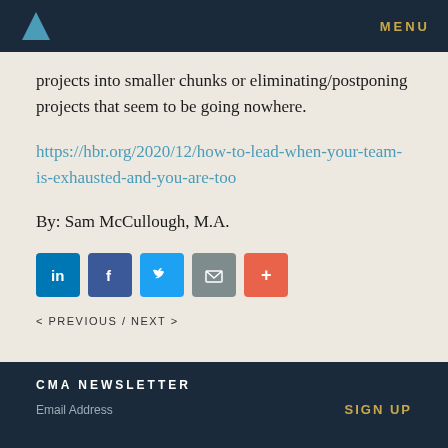MENU
projects into smaller chunks or eliminating/postponing projects that seem to be going nowhere.
https://hbr.org/2020/12/how-to-lead-when-your-team-is-exhausted-and-you-are-too
By: Sam McCullough, M.A.
[Figure (infographic): Social sharing buttons: LinkedIn (blue), Facebook (dark blue), Twitter (light blue), Email (gray), More (red/orange)]
< PREVIOUS / NEXT >
CMA NEWSLETTER
Email Address
SIGN UP